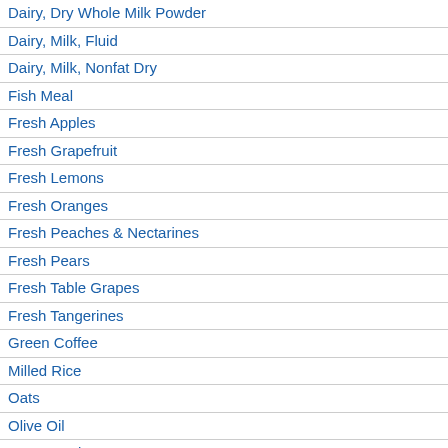Dairy, Dry Whole Milk Powder
Dairy, Milk, Fluid
Dairy, Milk, Nonfat Dry
Fish Meal
Fresh Apples
Fresh Grapefruit
Fresh Lemons
Fresh Oranges
Fresh Peaches & Nectarines
Fresh Pears
Fresh Table Grapes
Fresh Tangerines
Green Coffee
Milled Rice
Oats
Olive Oil
Orange Juice
Palm Kernel Oil
Palm Oil
Peanut Meal
Peanut Oil
Peanut Oilseed
Pistachios, Inshell Basis
Rapeseed Meal
Rapeseed Oil
[Figure (other): Partial line chart showing year axis from 2001 to 2021]
Download to Excel (xls)
| Market Year | Total Distribution | Unit of Measure | Growth Rate |
| --- | --- | --- | --- |
| 2001 | 4100 | (MT) |  |
| 2002 | 4500 | (MT) | 9.7 |
| 2003 | 6400 | (MT) | 42.2 |
| 2004 | 6200 | (MT) | -3.1 |
| 2005 | 5200 | (MT) | -16.1 |
| 2006 | 6100 | (MT) | 17.3 |
| 2007 | 5100 | (MT) | -16.3 |
| 2008 | 6200 | (MT) | 21.5 |
| 2009 | 8100 | (MT) | 30.6 |
| 2010 | 7900 | (MT) | -2.4 |
| 2011 | 7500 | (MT) | -5.0 |
| 2012 | 10000 | (MT) | 33.3 |
| 2013 | 9400 | (MT) | -6.0 |